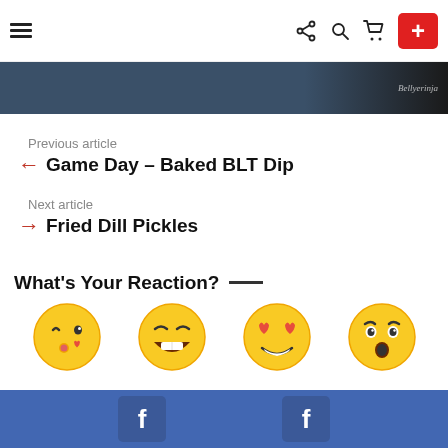Navigation header with hamburger menu, share, search, cart icons and red + button
[Figure (screenshot): Dark blue and black banner strip with italic text 'Bellyerinja']
Previous article
← Game Day – Baked BLT Dip
Next article
→ Fried Dill Pickles
What's Your Reaction? —
[Figure (illustration): Four emoji faces: kissing face with heart, laughing face, heart-eyes face, shocked/surprised face]
Facebook social bar with two Facebook icon buttons